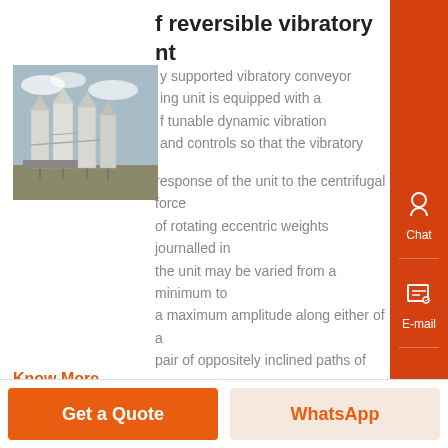f reversible vibratory nt
[Figure (photo): Industrial silos/conveyor equipment photo, outdoor industrial setting with multiple white cylindrical silos on metal frames against a sky background]
y supported vibratory conveyor ing unit is equipped with a f tunable dynamic vibration and controls so that the vibratory response of the unit to the centrifugal force of rotating eccentric weights journalled in the unit may be varied from a minimum to a maximum amplitude along either of a pair of oppositely inclined paths of movement...
Know More